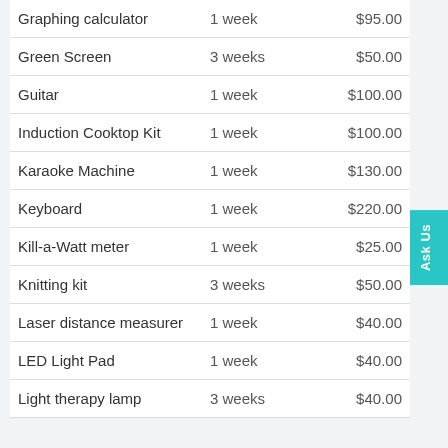| Item | Loan Period | Replacement Cost |
| --- | --- | --- |
| Graphing calculator | 1 week | $95.00 |
| Green Screen | 3 weeks | $50.00 |
| Guitar | 1 week | $100.00 |
| Induction Cooktop Kit | 1 week | $100.00 |
| Karaoke Machine | 1 week | $130.00 |
| Keyboard | 1 week | $220.00 |
| Kill-a-Watt meter | 1 week | $25.00 |
| Knitting kit | 3 weeks | $50.00 |
| Laser distance measurer | 1 week | $40.00 |
| LED Light Pad | 1 week | $40.00 |
| Light therapy lamp | 3 weeks | $40.00 |